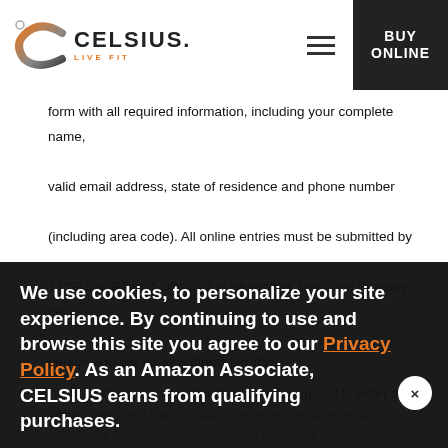[Figure (logo): Celsius Live Fit logo with orange C icon and text]
form with all required information, including your complete name, valid email address, state of residence and phone number (including area code). All online entries must be submitted by 11:59:59p PT on 5/30/2022 to be eligible. Limit one (1) entry per person and per email address per day.
6. Any available opt-in opportunities are not required to enter the Sweepstakes, and opting-in will not improve your chances of winning. By participating and submitting an entry, Entrant agrees to its... LLC Holdings ... a LLC), are authorized to contact Entrant via email, mail, phone or any other
We use cookies, to personalize your site experience. By continuing to use and browse this site you agree to our Privacy Policy. As an Amazon Associate, CELSIUS earns from qualifying purchases.